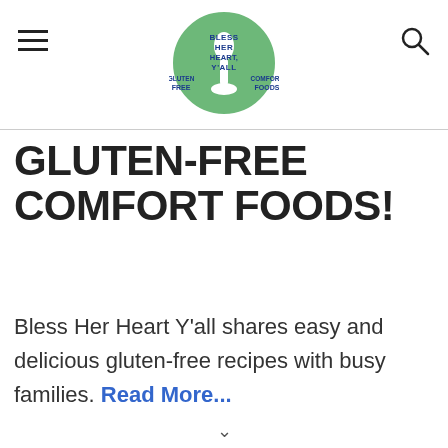Bless Her Heart Y'all - Gluten Free Comfort Foods (logo, hamburger menu, search icon)
GLUTEN-FREE COMFORT FOODS!
Bless Her Heart Y'all shares easy and delicious gluten-free recipes with busy families. Read More...